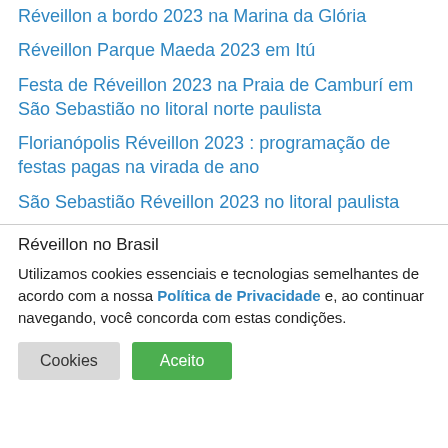Réveillon a bordo 2023 na Marina da Glória
Réveillon Parque Maeda 2023 em Itú
Festa de Réveillon 2023 na Praia de Camburí em São Sebastião no litoral norte paulista
Florianópolis Réveillon 2023 : programação de festas pagas na virada de ano
São Sebastião Réveillon 2023 no litoral paulista
Réveillon no Brasil
Utilizamos cookies essenciais e tecnologias semelhantes de acordo com a nossa Política de Privacidade e, ao continuar navegando, você concorda com estas condições.
Cookies | Aceito